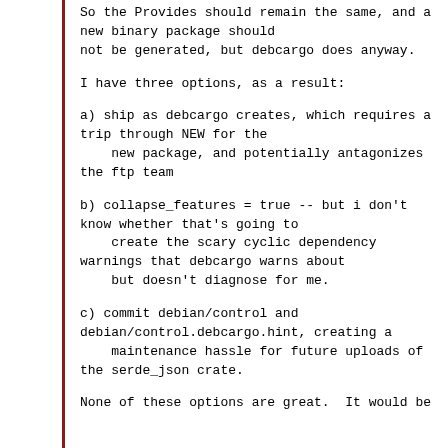So the Provides should remain the same, and a new binary package should
not be generated, but debcargo does anyway.
I have three options, as a result:
a) ship as debcargo creates, which requires a trip through NEW for the
   new package, and potentially antagonizes the ftp team
b) collapse_features = true -- but i don't know whether that's going to
   create the scary cyclic dependency warnings that debcargo warns about
   but doesn't diagnose for me.
c) commit debian/control and debian/control.debcargo.hint, creating a
   maintenance hassle for future uploads of the serde_json crate.
None of these options are great.  It would be